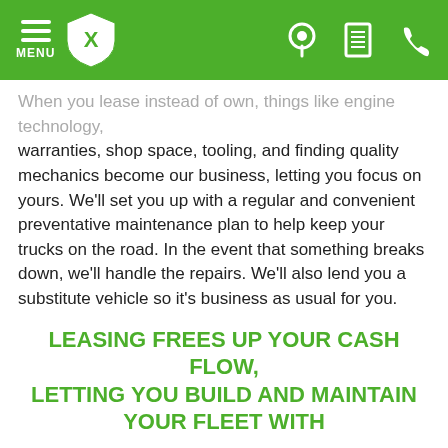MENU [logo] [location icon] [document icon] [phone icon]
When you lease instead of own, things like engine technology, warranties, shop space, tooling, and finding quality mechanics become our business, letting you focus on yours. We'll set you up with a regular and convenient preventative maintenance plan to help keep your trucks on the road. In the event that something breaks down, we'll handle the repairs. We'll also lend you a substitute vehicle so it's business as usual for you.
LEASING FREES UP YOUR CASH FLOW, LETTING YOU BUILD AND MAINTAIN YOUR FLEET WITH
NO
DOWN PAYMENTS
NO